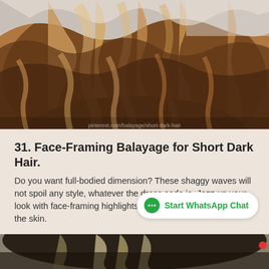[Figure (photo): Close-up photo of wavy balayage hair with warm brown and golden highlights]
31. Face-Framing Balayage for Short Dark Hair.
Do you want full-bodied dimension? These shaggy waves will not spoil any style, whatever the dress code is. Jazz up your look with face-framing highlights, lending additional shine to the skin.
[Figure (photo): Partial view of another hair photo at the bottom of the page]
Start WhatsApp Chat